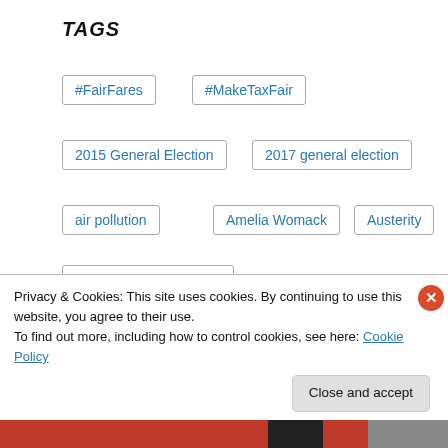TAGS
#FairFares
#MakeTaxFair
2015 General Election
2017 general election
air pollution
Amelia Womack
Austerity
Barts Health NHS Trust
Bishopsgate Goodsyard
Boleyn Development
by-election
campaign
candidate
Privacy & Cookies: This site uses cookies. By continuing to use this website, you agree to their use.
To find out more, including how to control cookies, see here: Cookie Policy
Close and accept